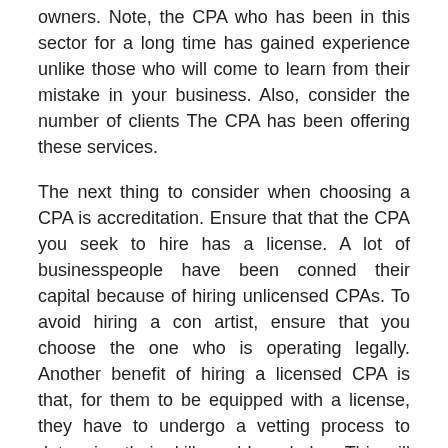owners. Note, the CPA who has been in this sector for a long time has gained experience unlike those who will come to learn from their mistake in your business. Also, consider the number of clients The CPA has been offering these services.
The next thing to consider when choosing a CPA is accreditation. Ensure that that the CPA you seek to hire has a license. A lot of businesspeople have been conned their capital because of hiring unlicensed CPAs. To avoid hiring a con artist, ensure that you choose the one who is operating legally. Another benefit of hiring a licensed CPA is that, for them to be equipped with a license, they have to undergo a vetting process to determine their skills and knowledge. This will save you time and money. Visit their offices and seek these documents.
The third thing to consider is reputation. Choose the person who is well known for offering great services. This means that people like them for offering high-quality services. In that case, seek references from your friends, family members, or business people who have received similar services. Also, learn their review and ratings from the company website or social media platforms with genuine feedbacks. People will always leave feedback expressing their experience working